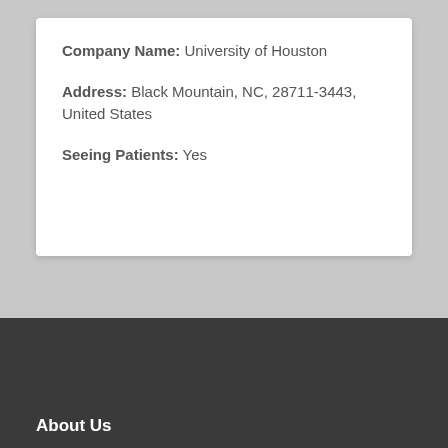Company Name: University of Houston
Address: Black Mountain, NC, 28711-3443, United States
Seeing Patients: Yes
About Us